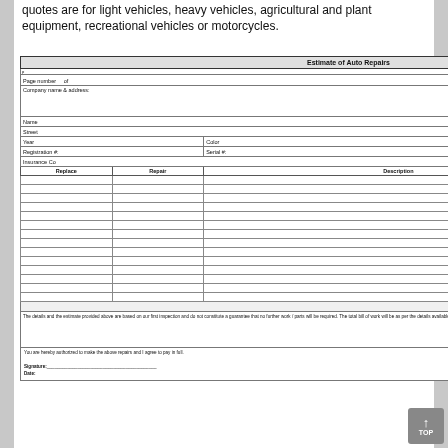quotes are for light vehicles, heavy vehicles, agricultural and plant equipment, recreational vehicles or motorcycles.
| Replace | Repair | Description | Parts | Labor | Refinish | Sublet |
| --- | --- | --- | --- | --- | --- | --- |
| Page number | of |  |  |  |  | Ref no |
| Company name & address: |  |  |  |  |  |  |
| Name |  |  |  | Phone |  | Date |
| Street |  |  |  | City |  |  |
| Year |  | Color | Make | Model |  |  |
| Registration #: |  |  | Serial #: | Odometer |  | Estimated by: |
| Insurance Co |  |  |  |  |  | Adjustor |
| Replace | Repair | Description |  | Parts | Labor | Refinish | Sublet |
|  |  |  |  |  |  |  |  |
|  |  |  |  |  |  |  |  |
|  |  |  |  |  |  |  |  |
|  |  |  |  |  |  |  |  |
|  |  |  |  |  |  |  |  |
|  |  |  |  |  |  |  |  |
|  |  |  |  |  |  |  |  |
|  |  |  |  |  |  |  |  |
|  |  |  |  |  |  |  |  |
|  |  |  |  |  |  |  |  |
|  |  |  |  |  |  |  |  |
|  |  |  |  |  |  |  |  |
|  |  |  |  |  |  |  |  |
|  |  |  |  |  |  |  |  |
| Totals |  |  |  |  |  |  |  |
| Total parts |  |
| Total Labor |  |
| Total Refinish |  |
| Total Sublet |  |
| Other charges |  |
| Tax |  |
| Total |  |